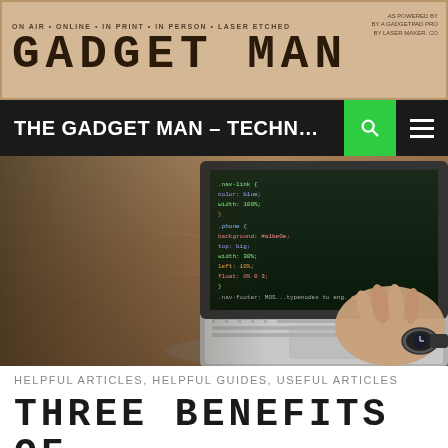GADGET MAN – ON AIR • ONLINE • IN PRINT • IN PERSON • LASER ETCHED
THE GADGET MAN – TECHNOLO...
[Figure (photo): Person typing on a laptop showing code on screen, placed on a wooden table]
HELPFUL ARTICLES, HELPFUL GUIDES, USEFUL ARTICLES
THREE BENEFITS OF